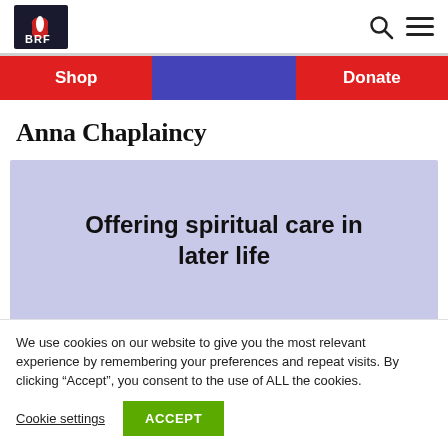BRF logo, search icon, hamburger menu
[Figure (logo): BRF logo with leaf/sprout icon on dark background]
Shop
Donate
Anna Chaplaincy
Offering spiritual care in later life
We use cookies on our website to give you the most relevant experience by remembering your preferences and repeat visits. By clicking “Accept”, you consent to the use of ALL the cookies.
Cookie settings
ACCEPT